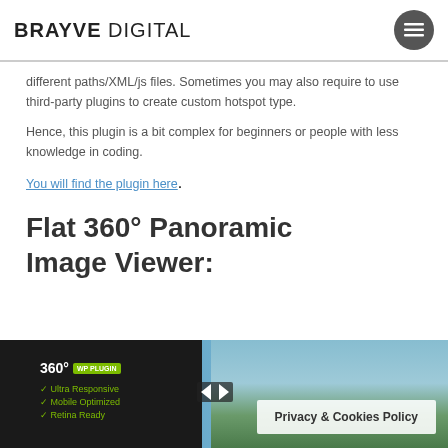BRAYVE DIGITAL
different paths/XML/js files. Sometimes you may also require to use third-party plugins to create custom hotspot type.
Hence, this plugin is a bit complex for beginners or people with less knowledge in coding.
You will find the plugin here.
Flat 360° Panoramic Image Viewer:
[Figure (screenshot): Screenshot of a 360° panoramic image viewer plugin showing a dark left panel with '360° WP PLUGIN' label and checkboxes for Ultra Responsive, Mobile Optimized, Retina Ready, alongside a panoramic outdoor mountain scene on the right. A 'Privacy & Cookies Policy' overlay appears at the bottom right.]